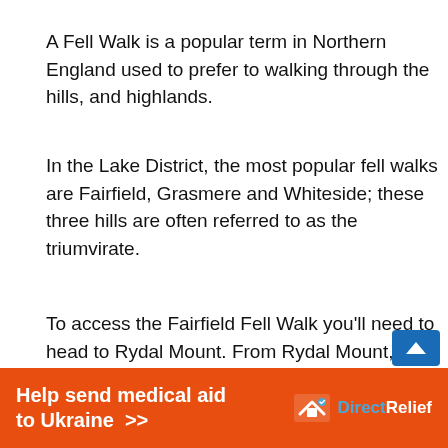A Fell Walk is a popular term in Northern England used to prefer to walking through the hills, and highlands.
In the Lake District, the most popular fell walks are Fairfield, Grasmere and Whiteside; these three hills are often referred to as the triumvirate.
To access the Fairfield Fell Walk you'll need to head to Rydal Mount. From Rydal Mount, follow the steep track that takes you up to Fairfield.
From Fairfield, you can then continue on to Grasmere or take a stroll along Wordsworth's famous Daffodil Walk. After that, descend down towards Whiteside and
[Figure (infographic): Orange advertisement banner reading 'Help send medical aid to Ukraine >>' with DirectRelief logo on the right]